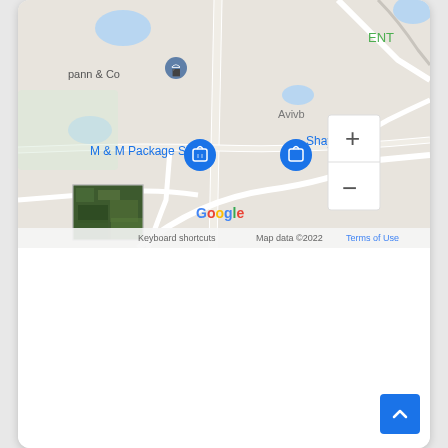[Figure (map): Google Maps screenshot showing area near Stone Mountain, Georgia. Shows M & M Package Store label in blue, ShayShaySh label in blue, Avivbo visible, pann & Co with map pin, ENT label, two blue shopping bag location pins, a small satellite photo thumbnail in bottom left, Google logo, Keyboard shortcuts, Map data ©2022, Terms of Use text, and zoom controls (+/-) in top right.]
About Stone Mountain
Stone Mountain is a quartz monzonite dome monadnock and the site of Stone Mountain Park, 16 miles (26 km) east of Atlanta, Georgia. Outside the park is the small city of